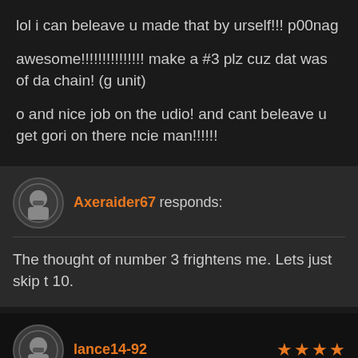lol i can beleave u made that by urself!!! p00nag
awesome!!!!!!!!!!!!!!! make a #3 plz cuz dat was of da chain! (g unit)
o and nice job on the udio! and cant beleave u get gori on there ncie man!!!!!!
Axeraider67 responds:
The thought of number 3 frightens me. Lets just skip t 10.
lance14-92
OMEG LOVED IT!!!! :D